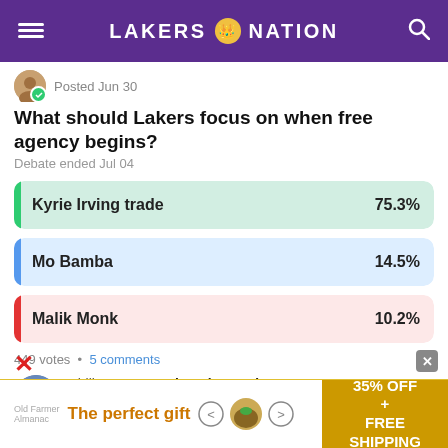LAKERS NATION
Posted Jun 30
What should Lakers focus on when free agency begins?
Debate ended Jul 04
[Figure (bar-chart): Poll results]
449 votes • 5 comments
philip_ votes Kyrie Irving trade
Posted Jun 30
Get kd